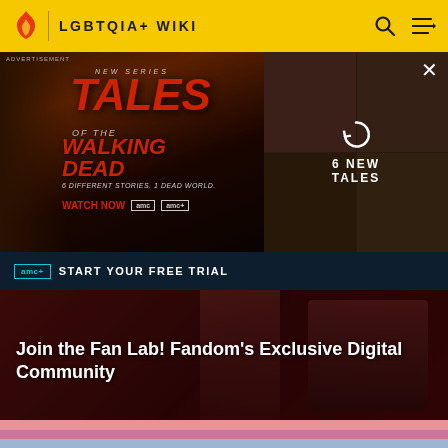LGBTQIA+ WIKI
[Figure (screenshot): Advertisement for 'Tales of the Walking Dead' new series on AMC. Left panel shows promotional poster with cast and red title text. Right panel shows a 2x2 grid of show images with '6 NEW TALES' overlay and a reload icon. Close button (×) in top right.]
amc+ START YOUR FREE TRIAL
[Figure (photo): Dark promotional image showing people, used as background for Fan Lab community banner]
Join the Fan Lab! Fandom's Exclusive Digital Community
[Figure (illustration): Bisexual pride flag stripes: pink, purple, and blue horizontal bands at bottom of page]